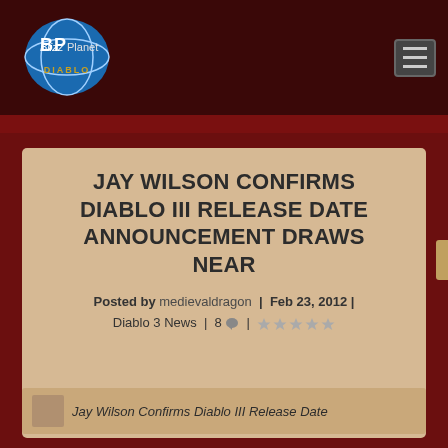BlizzPlanet Diablo
JAY WILSON CONFIRMS DIABLO III RELEASE DATE ANNOUNCEMENT DRAWS NEAR
Posted by medievaldragon | Feb 23, 2012 | Diablo 3 News | 8 💬 | ★☆☆☆☆
[Figure (photo): Jay Wilson Confirms Diablo III Release Date thumbnail image]